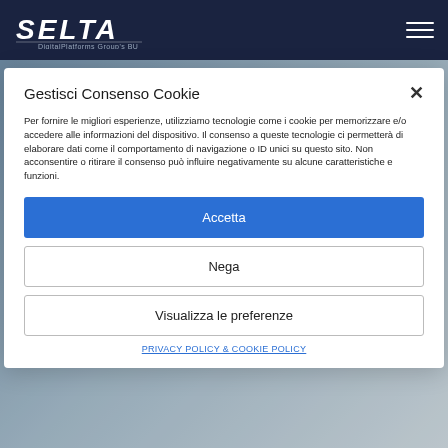SELTA DigitalPlatforms Group's BU
Gestisci Consenso Cookie
Per fornire le migliori esperienze, utilizziamo tecnologie come i cookie per memorizzare e/o accedere alle informazioni del dispositivo. Il consenso a queste tecnologie ci permetterà di elaborare dati come il comportamento di navigazione o ID unici su questo sito. Non acconsentire o ritirare il consenso può influire negativamente su alcune caratteristiche e funzioni.
Accetta
Nega
Visualizza le preferenze
PRIVACY POLICY & COOKIE POLICY